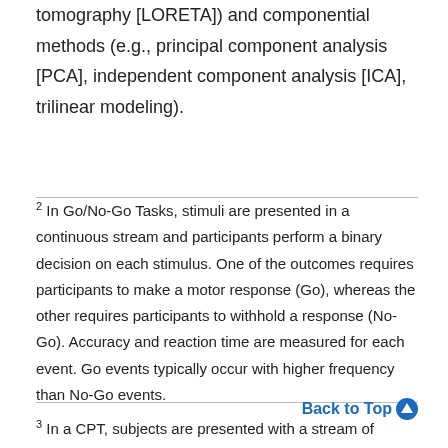tomography [LORETA]) and componential methods (e.g., principal component analysis [PCA], independent component analysis [ICA], trilinear modeling).
2 In Go/No-Go Tasks, stimuli are presented in a continuous stream and participants perform a binary decision on each stimulus. One of the outcomes requires participants to make a motor response (Go), whereas the other requires participants to withhold a response (No-Go). Accuracy and reaction time are measured for each event. Go events typically occur with higher frequency than No-Go events.
Back to Top
3 In a CPT, subjects are presented with a stream of letters and must